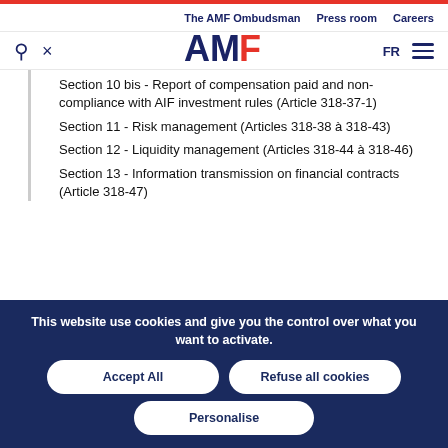The AMF Ombudsman | Press room | Careers
[Figure (logo): AMF logo with search, close icons and FR language toggle and hamburger menu]
Section 10 bis - Report of compensation paid and non-compliance with AIF investment rules (Article 318-37-1)
Section 11 - Risk management (Articles 318-38 à 318-43)
Section 12 - Liquidity management (Articles 318-44 à 318-46)
Section 13 - Information transmission on financial contracts (Article 318-47)
This website use cookies and give you the control over what you want to activate.
Accept All | Refuse all cookies | Personalise